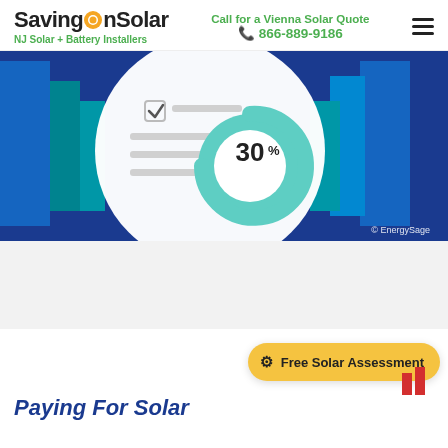SavingOnSolar — NJ Solar + Battery Installers | Call for a Vienna Solar Quote 866-889-9186
[Figure (illustration): Hero banner showing a circular illustration with a checklist document and a teal donut-style arc highlighting 30% with text '30%' in center, set against a dark blue background with geometric blue/teal rectangles. Copyright EnergySage watermark in bottom-right.]
Paying For Solar
[Figure (other): Free Solar Assessment call-to-action button (golden/yellow pill-shaped button) with gear icon, partially visible bar chart in background.]